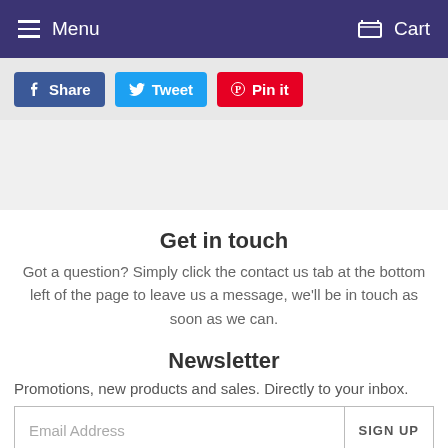Menu   Cart
[Figure (screenshot): Social share buttons: Facebook Share, Twitter Tweet, Pinterest Pin it]
Get in touch
Got a question? Simply click the contact us tab at the bottom left of the page to leave us a message, we'll be in touch as soon as we can.
Newsletter
Promotions, new products and sales. Directly to your inbox.
Email Address   SIGN UP